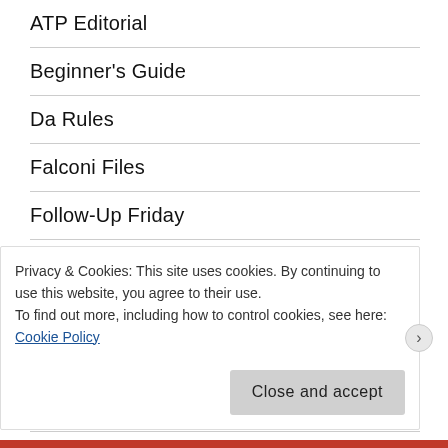ATP Editorial
Beginner's Guide
Da Rules
Falconi Files
Follow-Up Friday
Game + Watch
Island U
Match Notes
Media Mumblings
Minor-League Monday
Privacy & Cookies: This site uses cookies. By continuing to use this website, you agree to their use.
To find out more, including how to control cookies, see here: Cookie Policy
Close and accept